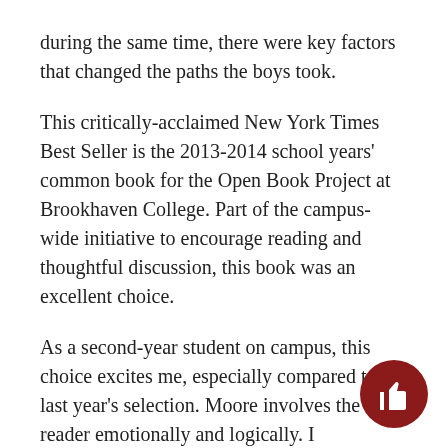during the same time, there were key factors that changed the paths the boys took.
This critically-acclaimed New York Times Best Seller is the 2013-2014 school years' common book for the Open Book Project at Brookhaven College. Part of the campus-wide initiative to encourage reading and thoughtful discussion, this book was an excellent choice.
As a second-year student on campus, this choice excites me, especially compared to last year's selection. Moore involves the reader emotionally and logically. I immediately became attached, finding myself shaking my head, nodding in agreement or even shedding a tear as I effortlessly worked through the book in two days.
The book is broken into three parts, starting with a